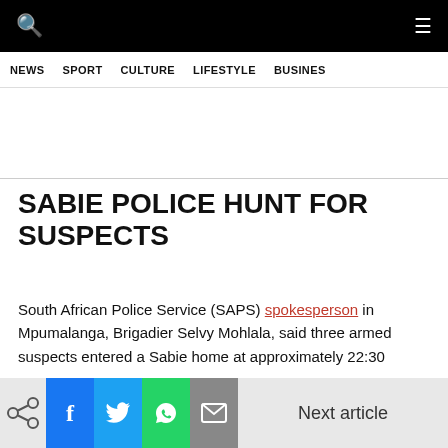NEWS  SPORT  CULTURE  LIFESTYLE  BUSINESS
SABIE POLICE HUNT FOR SUSPECTS
South African Police Service (SAPS) spokesperson in Mpumalanga, Brigadier Selvy Mohlala, said three armed suspects entered a Sabie home at approximately 22:30